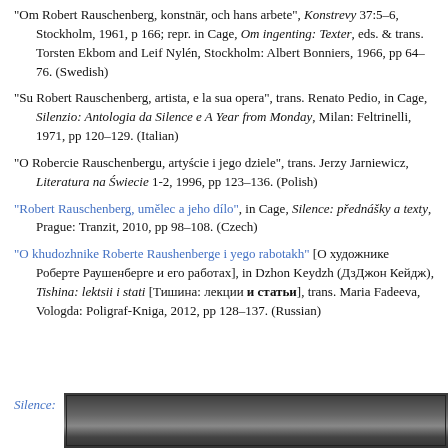"Om Robert Rauschenberg, konstnär, och hans arbete", Konstrevy 37:5–6, Stockholm, 1961, p 166; repr. in Cage, Om ingenting: Texter, eds. & trans. Torsten Ekbom and Leif Nylén, Stockholm: Albert Bonniers, 1966, pp 64–76. (Swedish)
"Su Robert Rauschenberg, artista, e la sua opera", trans. Renato Pedio, in Cage, Silenzio: Antologia da Silence e A Year from Monday, Milan: Feltrinelli, 1971, pp 120–129. (Italian)
"O Robercie Rauschenbergu, artyście i jego dziele", trans. Jerzy Jarniewicz, Literatura na Świecie 1-2, 1996, pp 123–136. (Polish)
"Robert Rauschenberg, umělec a jeho dílo", in Cage, Silence: přednášky a texty, Prague: Tranzit, 2010, pp 98–108. (Czech)
"O khudozhnike Roberte Raushenberge i yego rabotakh" [О художнике Роберте Раушенберге и его работах], in Dzhon Keydzh (ДзДжон Кейдж), Tishina: lektsii i stati [Тишина: лекции и статьи], trans. Maria Fadeeva, Vologda: Poligraf-Kniga, 2012, pp 128–137. (Russian)
Silence:
[Figure (photo): Partial photo of what appears to be a dark book or object cover, shown at the bottom of the page]